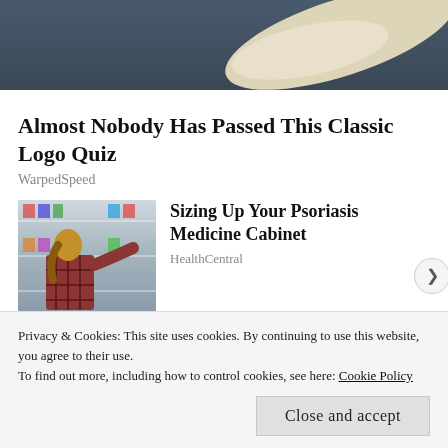[Figure (photo): Top portion of a person wearing a dark blue top, with a cream/beige scarf or fabric visible]
Almost Nobody Has Passed This Classic Logo Quiz
WarpedSpeed
[Figure (photo): Woman in a plaid shirt crouching in a pharmacy/drugstore aisle looking at products on shelves]
Sizing Up Your Psoriasis Medicine Cabinet
HealthCentral
[Figure (photo): Dark background image with circular shapes, possibly Oreo cookies]
'House Of The Dragon' Showrunners - They Are
Privacy & Cookies: This site uses cookies. By continuing to use this website, you agree to their use.
To find out more, including how to control cookies, see here: Cookie Policy
Close and accept